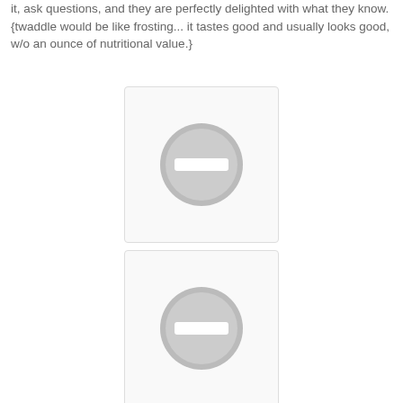it, ask questions, and they are perfectly delighted with what they know.
{twaddle would be like frosting... it tastes good and usually looks good, w/o an ounce of nutritional value.}
[Figure (other): Placeholder image box with a grey circle containing a white minus/stop icon in the center]
[Figure (other): Placeholder image box with a grey circle containing a white minus/stop icon in the center]